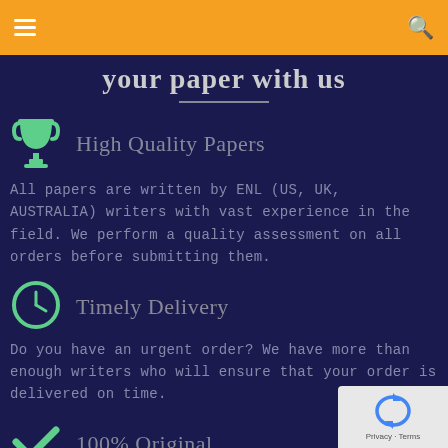Navigation bar with hamburger menu and search icon
your paper with us
High Quality Papers
All papers are written by ENL (US, UK, AUSTRALIA) writers with vast experience in the field. We perform a quality assessment on all orders before submitting them.
Timely Delivery
Do you have an urgent order? We have more than enough writers who will ensure that your order is delivered on time.
100% Original